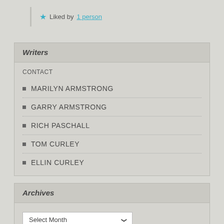★ Liked by 1 person
Writers
CONTACT
MARILYN ARMSTRONG
GARRY ARMSTRONG
RICH PASCHALL
TOM CURLEY
ELLIN CURLEY
Archives
Select Month